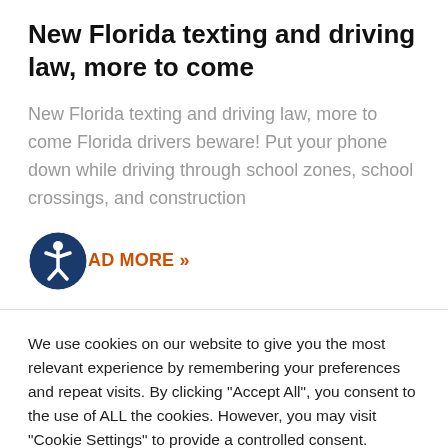New Florida texting and driving law, more to come
New Florida texting and driving law, more to come Florida drivers beware! Put your phone down while driving through school zones, school crossings, and construction
READ MORE »
We use cookies on our website to give you the most relevant experience by remembering your preferences and repeat visits. By clicking "Accept All", you consent to the use of ALL the cookies. However, you may visit "Cookie Settings" to provide a controlled consent.
Cookie Settings | Accept All